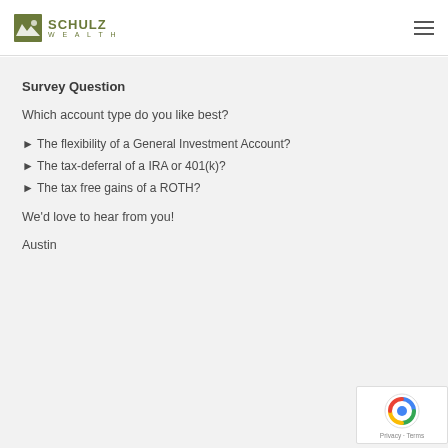SCHULZ WEALTH
Survey Question
Which account type do you like best?
► The flexibility of a General Investment Account?
► The tax-deferral of a IRA or 401(k)?
► The tax free gains of a ROTH?
We'd love to hear from you!
Austin